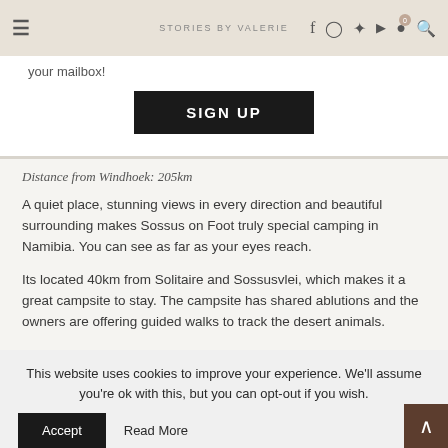STORIES BY VALERIE
your mailbox!
SIGN UP
Distance from Windhoek: 205km
A quiet place, stunning views in every direction and beautiful surrounding makes Sossus on Foot truly special camping in Namibia. You can see as far as your eyes reach.
Its located 40km from Solitaire and Sossusvlei, which makes it a great campsite to stay. The campsite has shared ablutions and the owners are offering guided walks to track the desert animals.
This website uses cookies to improve your experience. We'll assume you're ok with this, but you can opt-out if you wish.
Accept
Read More